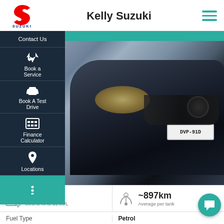[Figure (logo): Suzuki logo - red S symbol with SUZUKI text in blue below]
Kelly Suzuki
Contact Us
Book a Service
Book A Test Drive
Finance Calculator
Locations
[Figure (photo): Front view of a dark/black Mazda 2 car with number plate DVP-91D, parked in a lot with buildings in background]
~$66
Cost to fill at $1.50/L
~897km
Average per tank
Fuel Type
Petrol